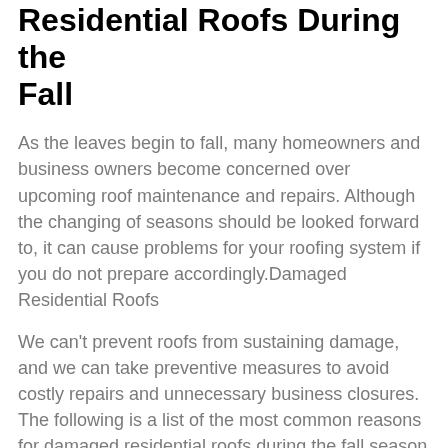Residential Roofs During the Fall
As the leaves begin to fall, many homeowners and business owners become concerned over upcoming roof maintenance and repairs. Although the changing of seasons should be looked forward to, it can cause problems for your roofing system if you do not prepare accordingly.Damaged Residential Roofs
We can't prevent roofs from sustaining damage, and we can take preventive measures to avoid costly repairs and unnecessary business closures. The following is a list of the most common reasons for damaged residential roofs during the fall season in Kentucky:
Wind Roof Damage
With wind speeds picking up in many areas, it is essential to